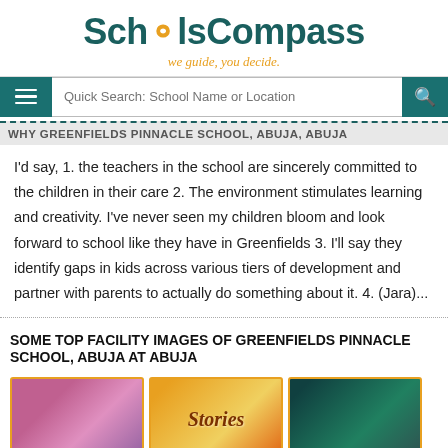SchoolsCompass — we guide, you decide.
WHY GREENFIELDS PINNACLE SCHOOL, ABUJA, ABUJA
I'd say, 1. the teachers in the school are sincerely committed to the children in their care 2. The environment stimulates learning and creativity. I've never seen my children bloom and look forward to school like they have in Greenfields 3. I'll say they identify gaps in kids across various tiers of development and partner with parents to actually do something about it. 4. (Jara)...
SOME TOP FACILITY IMAGES OF GREENFIELDS PINNACLE SCHOOL, ABUJA AT ABUJA
[Figure (photo): Photo 1: child at school event, purple/pink tones]
[Figure (photo): Photo 2: Stories book cover, orange/yellow tones]
[Figure (photo): Photo 3: school activity, dark teal tones]